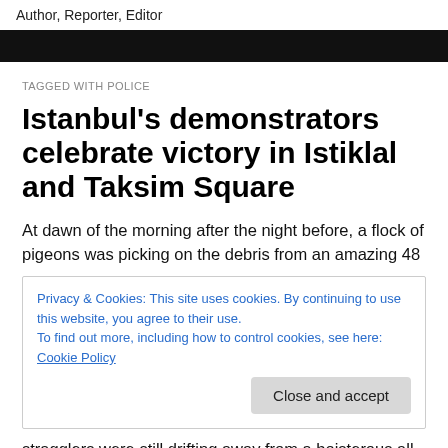Author, Reporter, Editor
TAGGED WITH POLICE
Istanbul's demonstrators celebrate victory in Istiklal and Taksim Square
At dawn of the morning after the night before, a flock of pigeons was picking on the debris from an amazing 48
Privacy & Cookies: This site uses cookies. By continuing to use this website, you agree to their use.
To find out more, including how to control cookies, see here: Cookie Policy
Close and accept
stragglers were still drifting away from a boisterous all-